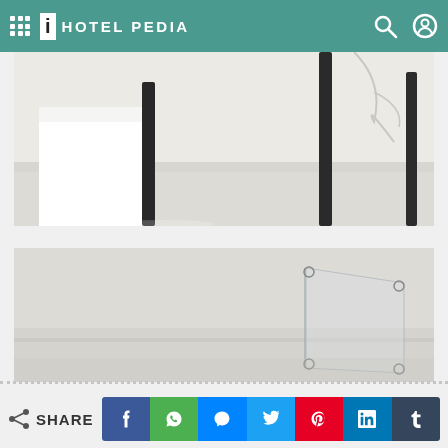iHOTEL PEDIA
[Figure (photo): Close-up of chair or table legs on a white/light floor with a white furniture piece, bright minimalist interior]
[Figure (photo): Minimalist white room with a transparent acrylic or glass panel/stand in the lower right corner]
SHARE